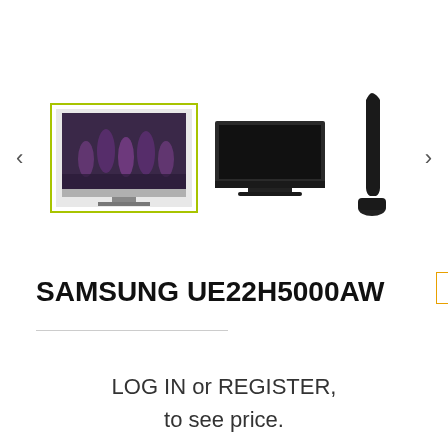[Figure (photo): Product image gallery showing Samsung UE22H5000AW TV from three angles: front with screen showing purple flowers (selected with yellow-green border), front black view, and side profile view. Left and right navigation arrows.]
SAMSUNG UE22H5000AW
added product cart
LOG IN or REGISTER, to see price.